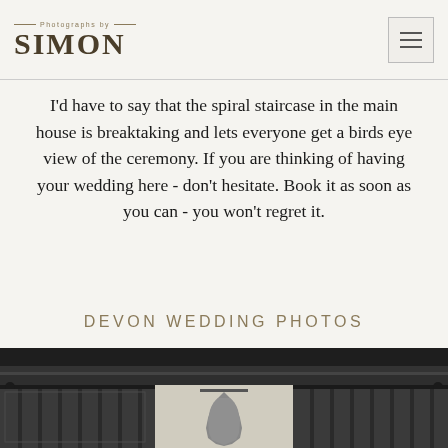Photographs by SIMON
I'd have to say that the spiral staircase in the main house is breaktaking and lets everyone get a birds eye view of the ceremony. If you are thinking of having your wedding here - don't hesitate. Book it as soon as you can - you won't regret it.
DEVON WEDDING PHOTOS
[Figure (photo): Black and white photograph of a wedding dress hanging in a window between dark curtains with ornate cornice molding above]